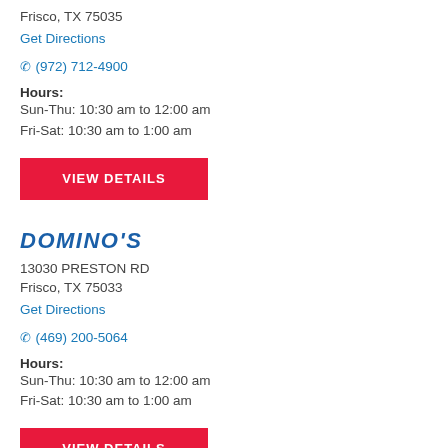Frisco, TX 75035
Get Directions
(972) 712-4900
Hours:
Sun-Thu: 10:30 am to 12:00 am
Fri-Sat: 10:30 am to 1:00 am
VIEW DETAILS
DOMINO'S
13030 PRESTON RD
Frisco, TX 75033
Get Directions
(469) 200-5064
Hours:
Sun-Thu: 10:30 am to 12:00 am
Fri-Sat: 10:30 am to 1:00 am
VIEW DETAILS